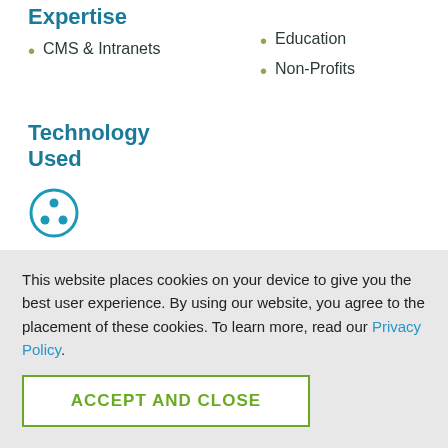Expertise
CMS & Intranets
Education
Non-Profits
Technology Used
[Figure (illustration): Circular icon with three dots arranged in a triangle pattern, teal/blue outline style]
This website places cookies on your device to give you the best user experience. By using our website, you agree to the placement of these cookies. To learn more, read our Privacy Policy.
ACCEPT AND CLOSE